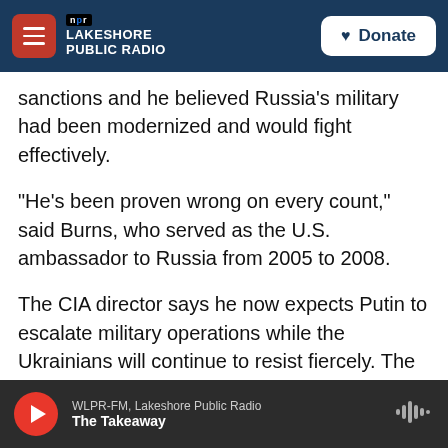NPR Lakeshore Public Radio | Donate
sanctions and he believed Russia's military had been modernized and would fight effectively.
"He's been proven wrong on every count," said Burns, who served as the U.S. ambassador to Russia from 2005 to 2008.
The CIA director says he now expects Putin to escalate military operations while the Ukrainians will continue to resist fiercely. The likely result, he says, is "an ugly next few weeks" of fighting for control of Ukraine's cities, including the capital, Kyiv.
WLPR-FM, Lakeshore Public Radio — The Takeaway